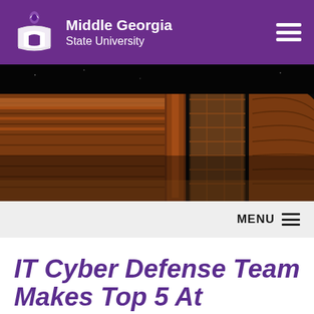Middle Georgia State University
[Figure (photo): Night photograph of a university building with warm orange/amber lighting against a dark sky, showing architectural details of a curved brick structure with glass windows.]
MENU
IT Cyber Defense Team Makes Top 5 At Regional...